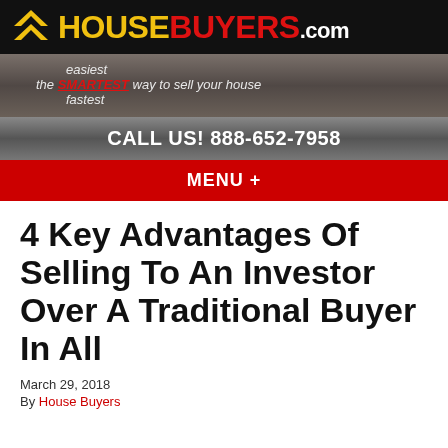[Figure (logo): HouseBuyers.com logo with yellow chevron icon on black background, red HOUSEBUYERS text, white .com]
easiest
the SMARTEST way to sell your house
fastest
CALL US! 888-652-7958
MENU +
4 Key Advantages Of Selling To An Investor Over A Traditional Buyer In All
March 29, 2018
By House Buyers